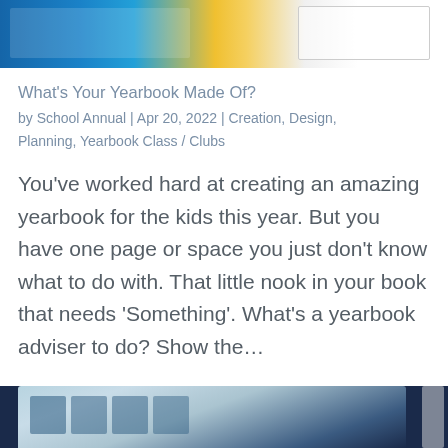[Figure (photo): Top banner image of a yearbook or school-related graphic with colorful design elements including blue, yellow, and white tones.]
What's Your Yearbook Made Of?
by School Annual | Apr 20, 2022 | Creation, Design, Planning, Yearbook Class / Clubs
You've worked hard at creating an amazing yearbook for the kids this year. But you have one page or space you just don't know what to do with. That little nook in your book that needs 'Something'. What's a yearbook adviser to do? Show the…
[Figure (photo): Bottom partial image showing a dark navy blue background with a partial view of a yearbook page featuring student portraits on a decorative background.]